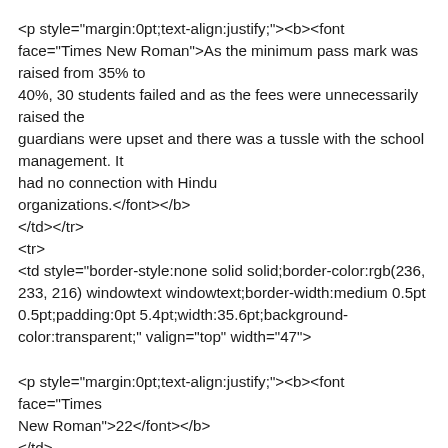<p style="margin:0pt;text-align:justify;"><b><font face="Times New Roman">As the minimum pass mark was raised from 35% to
40%, 30 students failed and as the fees were unnecessarily raised the
guardians were upset and there was a tussle with the school management. It
had no connection with Hindu
organizations.</font></b>
</td></tr>
<tr>
<td style="border-style:none solid solid;border-color:rgb(236, 233, 216) windowtext windowtext;border-width:medium 0.5pt 0.5pt;padding:0pt 5.4pt;width:35.6pt;background-color:transparent;" valign="top" width="47">

<p style="margin:0pt;text-align:justify;"><b><font face="Times New Roman">22</font></b>
</td>
<td style="border-style:none solid solid none;border-color:rgb(236, 233, 216) windowtext windowtext rgb(236, 233, 216);border-width:medium 0.5pt 0.5pt medium;padding:0pt 5.4pt;width:149.8pt;background-color:transparent;" valign="top" width="200">